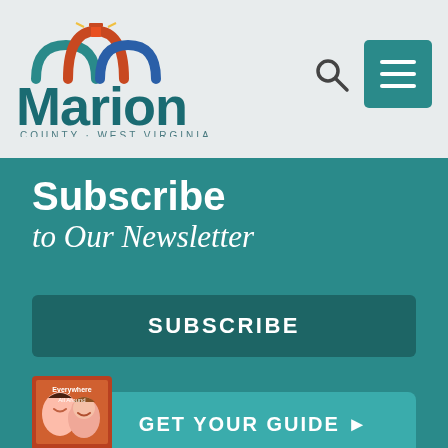[Figure (logo): Marion County West Virginia logo with colorful arch icons above the letter i]
Subscribe
to Our Newsletter
SUBSCRIBE
[Figure (illustration): Marion County visitor guide book cover showing people smiling]
GET YOUR GUIDE ▶